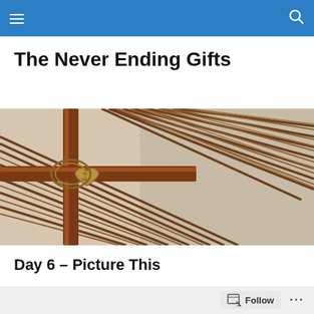The Never Ending Gifts — blog navigation header
The Never Ending Gifts
[Figure (photo): Close-up photo of a wooden cross-shaped gift wrapped with natural reed or grass bundles, with a heart-shaped tag reading 'to you']
Day 6 – Picture This
Oh no. I glanced over at my coat in the passenger seat and reached over to pick it up. But it was no use – my
Follow